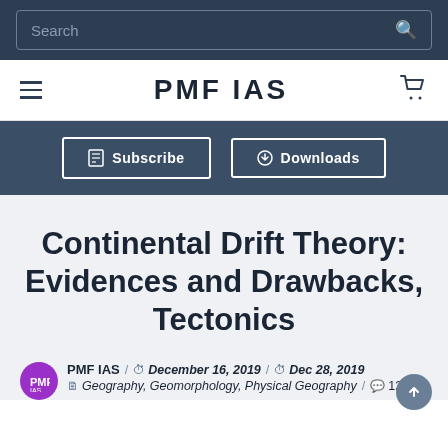Search
PMF IAS
Subscribe / Downloads
Continental Drift Theory: Evidences and Drawbacks, Tectonics
PMF IAS / December 16, 2019 / Dec 28, 2019 / Geography, Geomorphology, Physical Geography / 12